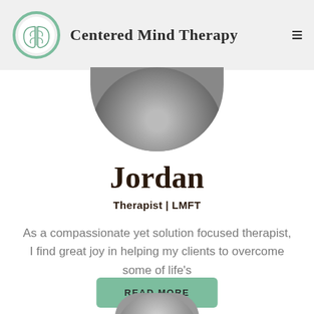Centered Mind Therapy
[Figure (photo): Circular profile photo of therapist Jordan, partially cropped at top of page, black and white photo]
Jordan
Therapist | LMFT
As a compassionate yet solution focused therapist, I find great joy in helping my clients to overcome some of life's
[Figure (other): Green rounded rectangle button labeled READ MORE]
[Figure (photo): Partial circular profile photo visible at bottom of page]